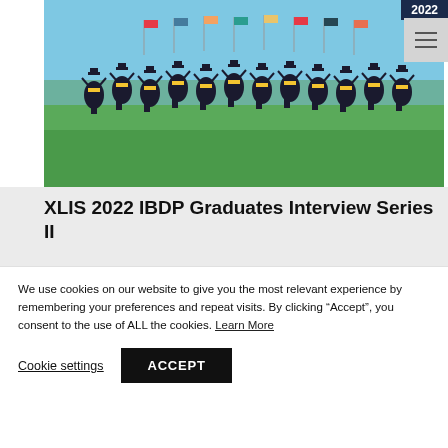[Figure (photo): Group of graduates in caps and gowns jumping in the air on a green field with flags in the background]
XLIS 2022 IBDP Graduates Interview Series II
August 2, 2022
Series II David & Clara   In the previous graduate
We use cookies on our website to give you the most relevant experience by remembering your preferences and repeat visits. By clicking “Accept”, you consent to the use of ALL the cookies. Learn More
Cookie settings
ACCEPT